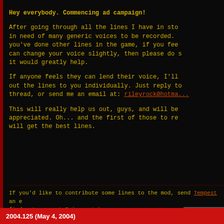Hey everybody. Commencing ad campaign!

After going through all the lines I have in stock, in need of many generic voices to be recorded. if you've done other lines in the game, if you feel you can change your voice slightly, then please do so, it would greatly help.

If anyone feels they can lend their voice, I'll send out the lines to you individually. Just reply to this thread, or send me an email at: rileyrock@hotma...

This will really help us out, guys, and will be greatly appreciated. Oh... and the first of those to respond will get the best lines.
If you'd like to contribute some lines to the mod, send Tempest an email... find out more at Crius.net here.
ChrisReid
2004.125 (May 4, 2004)